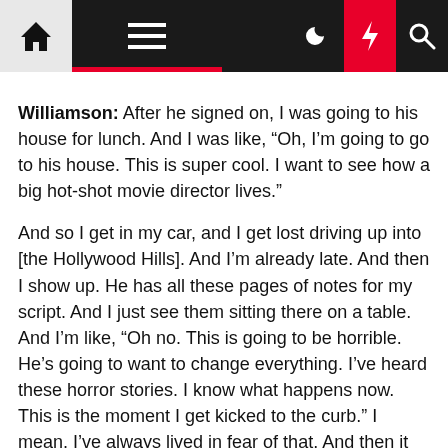[Navigation bar with home, menu, moon, lightning, and search icons]
Williamson: After he signed on, I was going to his house for lunch. And I was like, “Oh, I’m going to go to his house. This is super cool. I want to see how a big hot-shot movie director lives.”
And so I get in my car, and I get lost driving up into [the Hollywood Hills]. And I’m already late. And then I show up. He has all these pages of notes for my script. And I just see them sitting there on a table. And I’m like, “Oh no. This is going to be horrible. He’s going to want to change everything. I’ve heard these horror stories. I know what happens now. This is the moment I get kicked to the curb.” I mean, I’ve always lived in fear of that. And then it turned out that he was like, “Well, most of these are typos.”
There were a bunch of typos. He goes, “We should just fix everything, don’t you think?” It was a really